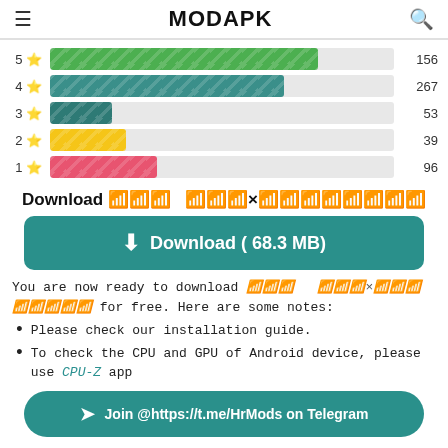MODAPK
[Figure (bar-chart): Rating distribution]
Download 앱이름 버전×모드이름
Download ( 68.3 MB)
You are now ready to download 앱이름 버전×모드이름 for free. Here are some notes:
Please check our installation guide.
To check the CPU and GPU of Android device, please use CPU-Z app
Join @https://t.me/HrMods on Telegram